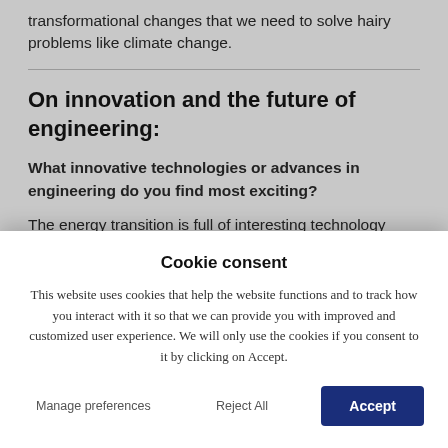transformational changes that we need to solve hairy problems like climate change.
On innovation and the future of engineering:
What innovative technologies or advances in engineering do you find most exciting?
The energy transition is full of interesting technology spaces. Clean hydrogen is an obvious one, given my
Cookie consent
This website uses cookies that help the website functions and to track how you interact with it so that we can provide you with improved and customized user experience. We will only use the cookies if you consent to it by clicking on Accept.
Manage preferences
Reject All
Accept